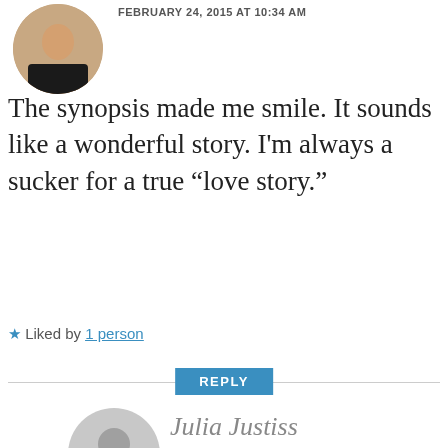FEBRUARY 24, 2015 AT 10:34 AM
The synopsis made me smile. It sounds like a wonderful story. I'm always a sucker for a true “love story.”
★ Liked by 1 person
REPLY
Julia Justiss
FEBRUARY 24, 2015 AT 3:28 PM
Me too, Kim. I tend to prefer (and write) more angst stories than light-and-humorous. Love that happy-